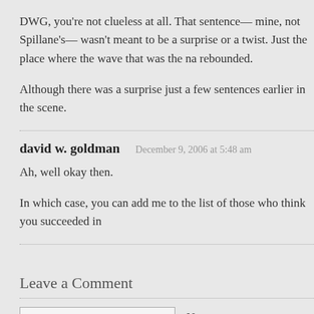DWG, you're not clueless at all. That sentence— mine, not Spillane's— wasn't meant to be a surprise or a twist. Just the place where the wave that was the na rebounded.
Although there was a surprise just a few sentences earlier in the scene.
david w. goldman   December 9, 2006 at 5:48 am
Ah, well okay then.
In which case, you can add me to the list of those who think you succeeded in
Leave a Comment
Name
E-mail